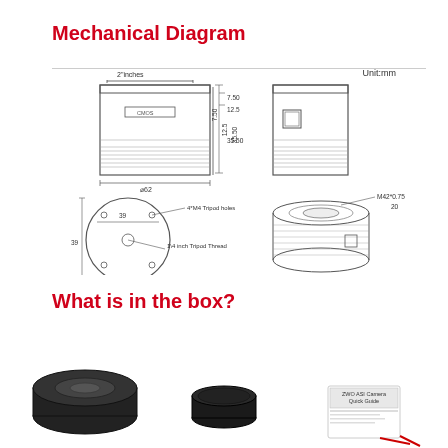Mechanical Diagram
[Figure (engineering-diagram): Mechanical diagram of a camera showing front view with dimensions: 2 inches width, CMOS label, measurements 7.50, 12.5, 35.50 mm vertically, diameter 62 mm. Bottom view circle showing 39mm diameter, 4*M4 Tripod holes, 1/4 inch Tripod Thread, side dimension 39. Side view showing M42*0.75 thread, dimension 20mm.]
What is in the box?
[Figure (photo): Photos of box contents: camera body, lens cap (black circular cap), and ZWO ASI Camera Quick Guide booklet with a USB cable visible.]